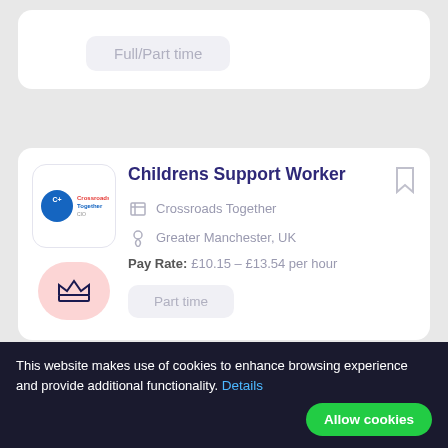Full/Part time
Childrens Support Worker
Crossroads Together
Greater Manchester, UK
Pay Rate: £10.15 – £13.54 per hour
Part time
This website makes use of cookies to enhance browsing experience and provide additional functionality. Details
Allow cookies